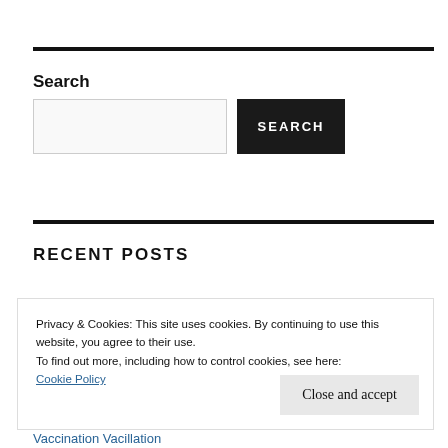Search
[Figure (screenshot): Search input box with dark SEARCH button]
RECENT POSTS
Privacy & Cookies: This site uses cookies. By continuing to use this website, you agree to their use.
To find out more, including how to control cookies, see here:
Cookie Policy
Close and accept
Vaccination Vacillation